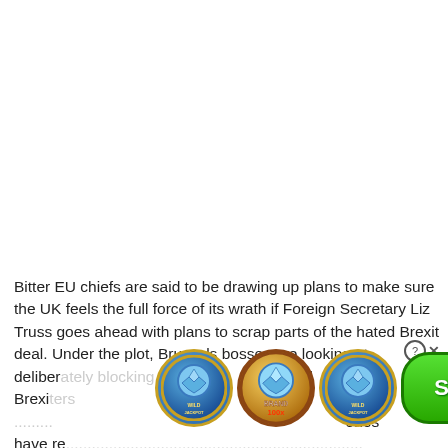Bitter EU chiefs are said to be drawing up plans to make sure the UK feels the full force of its wrath if Foreign Secretary Liz Truss goes ahead with plans to scrap parts of the hated Brexit deal. Under the plot, Brussels bosses are looking at deliber[ately blocking trade] with [select]ed Brexi[ters] [and] [memb] [of] T[o]ries have re[acted...]
[Figure (other): Online gambling advertisement overlay showing three slot machine coin icons with diamond symbols (two 'Wild Jackpot' and one 'Brand 100x') and a green SPIN button.]